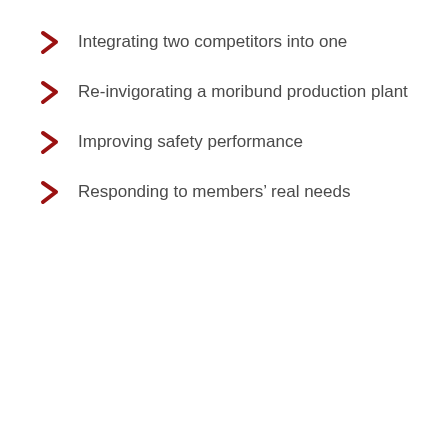Integrating two competitors into one
Re-invigorating a moribund production plant
Improving safety performance
Responding to members' real needs